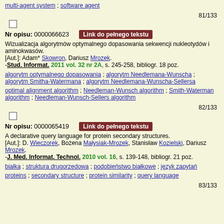multi-agent system ; software agent
81/133
Nr opisu: 0000066623   Link do pełnego tekstu
Wizualizacja algorytmów optymalnego dopasowania sekwencji nukleotydów i aminokwasów.
[Aut.]: Adam* Skowron, Dariusz Mrozek.
-Stud. Informat. 2011 vol. 32 nr 2A, s. 245-258, bibliogr. 18 poz.
algorytm optymalnego dopasowania ; algorytm Needlemana-Wunscha ; algorytm Smitha-Watermana ; algorytm Needlemana-Wunscha-Sellersa
optimal alignment algorithm ; Needleman-Wunsch algorithm ; Smith-Waterman algorithm ; Needleman-Wunsch-Sellers algorithm
82/133
Nr opisu: 0000065419   Link do pełnego tekstu
A declarative query language for protein secondary structures.
[Aut.]: D. Wieczorek, Bożena Małysiak-Mrozek, Stanisław Kozielski, Dariusz Mrozek.
-J. Med. Informat. Technol. 2010 vol. 16, s. 139-148, bibliogr. 21 poz.
białka ; struktura drugorzędowa ; podobieństwo białkowe ; język zapytań
proteins ; secondary structure ; protein similarity ; query language
83/133